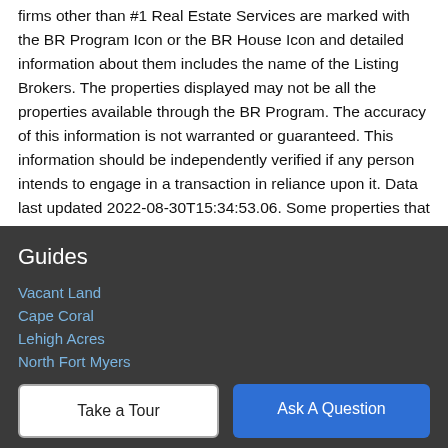firms other than #1 Real Estate Services are marked with the BR Program Icon or the BR House Icon and detailed information about them includes the name of the Listing Brokers. The properties displayed may not be all the properties available through the BR Program. The accuracy of this information is not warranted or guaranteed. This information should be independently verified if any person intends to engage in a transaction in reliance upon it. Data last updated 2022-08-30T15:34:53.06. Some properties that appear for sale on this website may no longer be available. For the most current information, contact #1 Real Estate Services, (239) 994-7529, . Licensed in the State of Florida.
Guides
Vacant Land
Cape Coral
Lehigh Acres
North Fort Myers